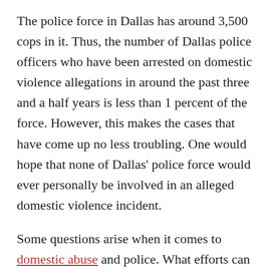The police force in Dallas has around 3,500 cops in it. Thus, the number of Dallas police officers who have been arrested on domestic violence allegations in around the past three and a half years is less than 1 percent of the force. However, this makes the cases that have come up no less troubling. One would hope that none of Dallas' police force would ever personally be involved in an alleged domestic violence incident.
Some questions arise when it comes to domestic abuse and police. What efforts can be taken to help reduce the occurrence of police officers committing domestic violence? Are enough such efforts currently being taken?
What do you think about this second question when it comes to Dallas? Do you think Dallas can/should be doing more to prevent officers in domestic violence...